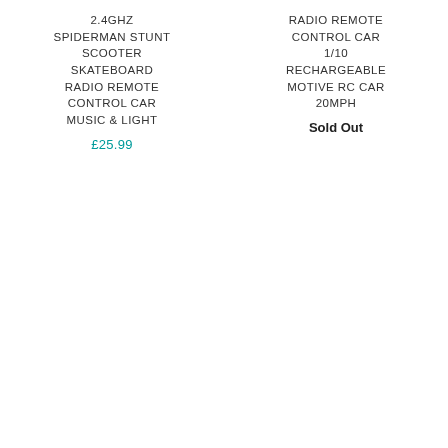2.4GHZ SPIDERMAN STUNT SCOOTER SKATEBOARD RADIO REMOTE CONTROL CAR MUSIC & LIGHT
£25.99
RADIO REMOTE CONTROL CAR 1/10 RECHARGEABLE MOTIVE RC CAR 20MPH
Sold Out